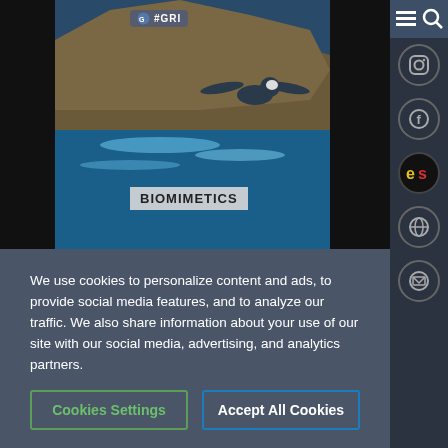[Figure (photo): Aerial photo of rocky coastline with ocean waves and a bird flying in the foreground. Text overlay reads 'BIOMIMETICS'. Small '#GRI' badge at top left of image.]
Biomimetics
What have we learned from biological systems that has helped inventors and engineers find more efficient solutions? ...
We use cookies to personalize content and ads, to provide social media features, and to analyze our traffic. We also share information about your use of our site with our social media, advertising, and analytics partners.
Cookies Settings
Accept All Cookies